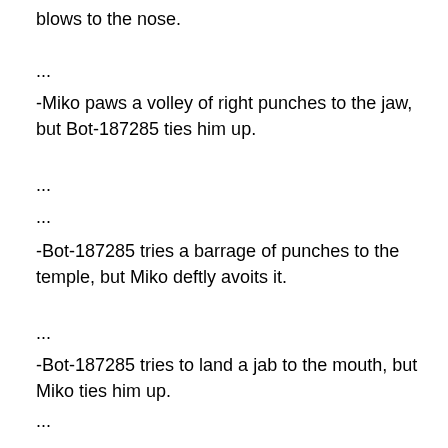blows to the nose.
...
-Miko paws a volley of right punches to the jaw, but Bot-187285 ties him up.
...
...
-Bot-187285 tries a barrage of punches to the temple, but Miko deftly avoits it.
...
-Bot-187285 tries to land a jab to the mouth, but Miko ties him up.
...
...
...
...
...
...
-Bot-187285 charges with a flurry of left punches to the chin, but comes up empty.